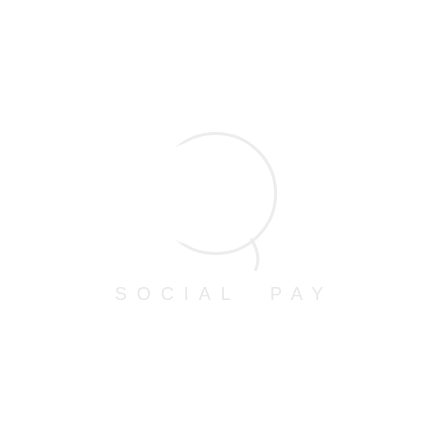[Figure (logo): Social Pay watermark logo: a faint light-grey circle/crescent arc shape above the text 'SOCIAL PAY' in wide letter-spaced light grey capitals]